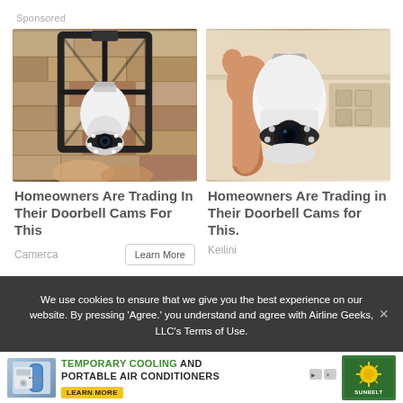Sponsored
[Figure (photo): Outdoor lantern light fixture with a white security camera bulb being installed, against a stone/brick wall]
[Figure (photo): Hand holding a white security camera shaped like a light bulb]
Homeowners Are Trading In Their Doorbell Cams For This
Homeowners Are Trading in Their Doorbell Cams for This.
Camerca
Keilini
We use cookies to ensure that we give you the best experience on our website. By pressing ‘Agree.’ you understand and agree with Airline Geeks, LLC’s Terms of Use.
TEMPORARY COOLING AND PORTABLE AIR CONDITIONERS
LEARN MORE